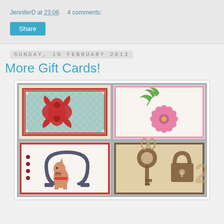JenniferD at 23:06    4 comments:
Share
Sunday, 10 February 2013
More Gift Cards!
[Figure (photo): Four handmade gift cards arranged in a 2x2 grid: top-left has a red butterfly/swirl die-cut on patterned paper, top-right has a pink flower with green leaves on cream background, bottom-left has a cartoon horse and horseshoe on cream with red border, bottom-right has a key and padlock die-cut design on brown/tan background.]